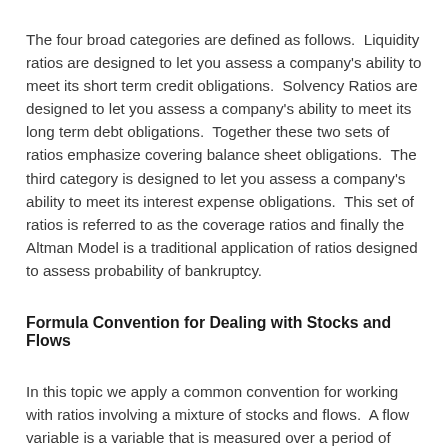The four broad categories are defined as follows.  Liquidity ratios are designed to let you assess a company's ability to meet its short term credit obligations.  Solvency Ratios are designed to let you assess a company's ability to meet its long term debt obligations.  Together these two sets of ratios emphasize covering balance sheet obligations.  The third category is designed to let you assess a company's ability to meet its interest expense obligations.  This set of ratios is referred to as the coverage ratios and finally the Altman Model is a traditional application of ratios designed to assess probability of bankruptcy.
Formula Convention for Dealing with Stocks and Flows
In this topic we apply a common convention for working with ratios involving a mixture of stocks and flows.  A flow variable is a variable that is measured over a period of time and